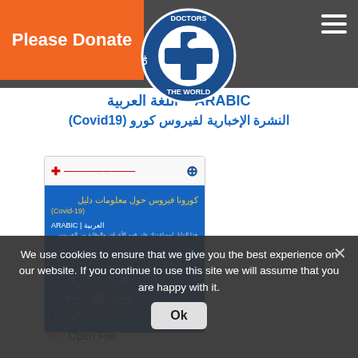Please Donate
[Figure (logo): Doctors of the World circular logo with cross and dove]
ARABIC – اللغة العربية
النشرة الإخبارية لفيروس كورو (Covid19)
[Figure (photo): Brochure cover image: Arabic Covid-19 informational newsletter with blue background and coronavirus illustration]
We use cookies to ensure that we give you the best experience on our website. If you continue to use this site we will assume that you are happy with it.
Download File
Open File